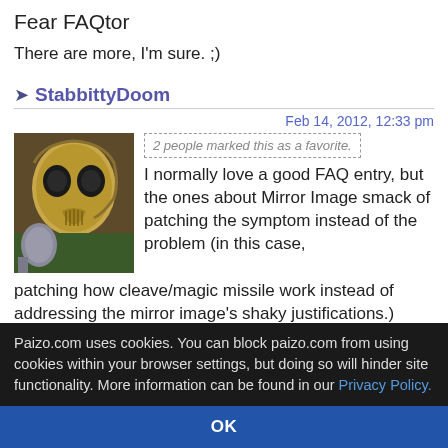Fear FAQtor
There are more, I'm sure. ;)
StabbittyDoom
Feb 14, 2012, 12:33 pm
[Figure (photo): Avatar image of a skull or creature, dark tones with green and brown]
2 people marked this as a favorite.
I normally love a good FAQ entry, but the ones about Mirror Image smack of patching the symptom instead of the problem (in this case, patching how cleave/magic missile work instead of addressing the mirror image's shaky justifications.)
If the reason you can't hit the caster properly is that you don't know the right thing to target, then why
Paizo.com uses cookies. You can block paizo.com from using cookies within your browser settings, but doing so will hinder site functionality. More information can be found in our Privacy Policy.
OK